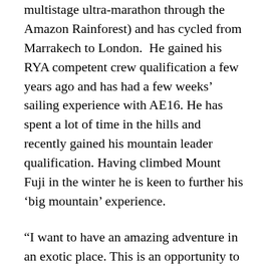multistage ultra-marathon through the Amazon Rainforest) and has cycled from Marrakech to London.  He gained his RYA competent crew qualification a few years ago and has had a few weeks' sailing experience with AE16. He has spent a lot of time in the hills and recently gained his mountain leader qualification. Having climbed Mount Fuji in the winter he is keen to further his 'big mountain' experience.
“I want to have an amazing adventure in an exotic place. This is an opportunity to work in a challenging environment and see what my limits are.”
Chief Research Officer / Chief Investigator –